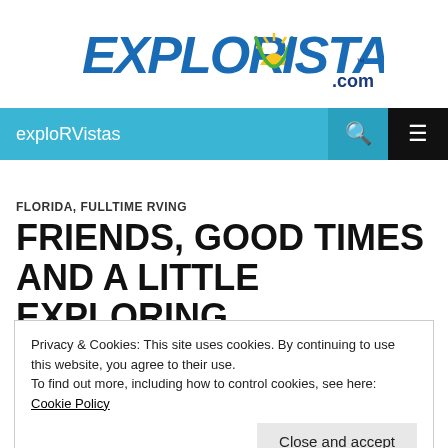[Figure (logo): ExploRVistas.com logo with stylized text in blue and green, sun/sunrise graphic in the center of the V]
exploRVistas
FLORIDA, FULLTIME RVING
FRIENDS, GOOD TIMES AND A LITTLE EXPLORING
DECEMBER 30, 2015   EXPLORVISTAS   17 COMMENTS
Privacy & Cookies: This site uses cookies. By continuing to use this website, you agree to their use.
To find out more, including how to control cookies, see here: Cookie Policy